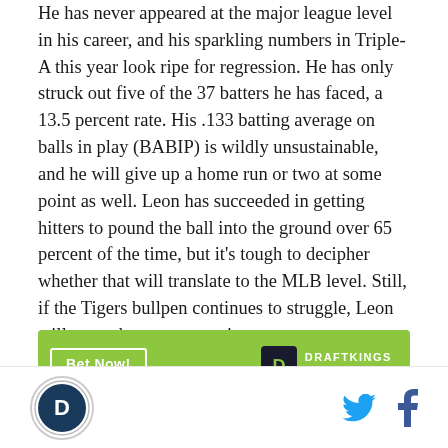He has never appeared at the major league level in his career, and his sparkling numbers in Triple-A this year look ripe for regression. He has only struck out five of the 37 batters he has faced, a 13.5 percent rate. His .133 batting average on balls in play (BABIP) is wildly unsustainable, and he will give up a home run or two at some point as well. Leon has succeeded in getting hitters to pound the ball into the ground over 65 percent of the time, but it's tough to decipher whether that will translate to the MLB level. Still, if the Tigers bullpen continues to struggle, Leon will get a shot at some point.
[Figure (other): DraftKings Sportsbook advertisement banner with green background, 'Bet Now!' button and DraftKings logo]
[Figure (other): Partially visible advertisement section below the DraftKings banner]
[Figure (logo): Site logo (circular, sports team logo) in footer with social media icons for Twitter and Facebook]